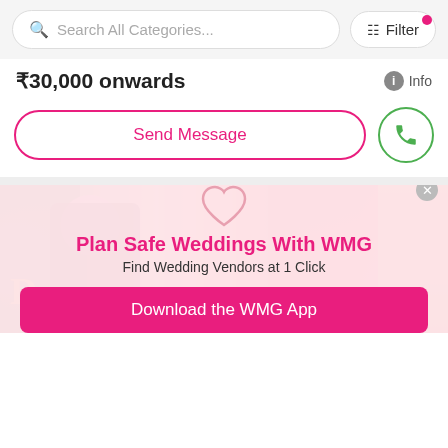Search All Categories...
Filter
₹30,000 onwards
Info
Send Message
[Figure (photo): Wedding photo showing a groom and other people at an Indian wedding ceremony, with red and pink decorations in the background]
Plan Safe Weddings With WMG
Find Wedding Vendors at 1 Click
Download the WMG App